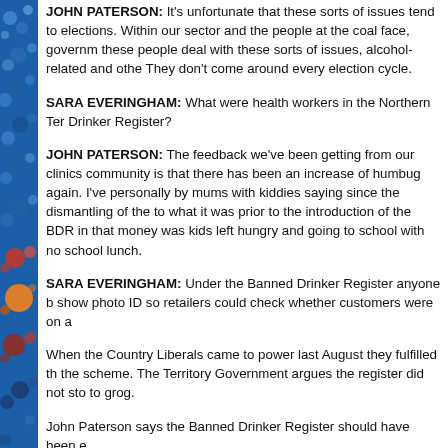[Figure (illustration): Left sidebar with blue background and colorful circles/dots pattern in blue, red, orange, and white]
JOHN PATERSON: It's unfortunate that these sorts of issues tend to elections. Within our sector and the people at the coal face, govern these people deal with these sorts of issues, alcohol-related and oth They don't come around every election cycle.
SARA EVERINGHAM: What were health workers in the Northern Ter Drinker Register?
JOHN PATERSON: The feedback we've been getting from our clinic community is that there has been an increase of humbug again. I've personally by mums with kiddies saying since the dismantling of the to what it was prior to the introduction of the BDR in that money was kids left hungry and going to school with no school lunch.
SARA EVERINGHAM: Under the Banned Drinker Register anyone b show photo ID so retailers could check whether customers were on a
When the Country Liberals came to power last August they fulfilled th the scheme. The Territory Government argues the register did not st to grog.
John Paterson says the Banned Drinker Register should have been
JOHN PATERSON: Unfortunately there wasn't a review, an evaluatio